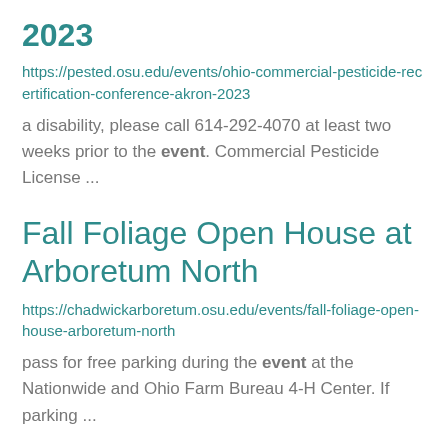2023
https://pested.osu.edu/events/ohio-commercial-pesticide-recertification-conference-akron-2023
a disability, please call 614-292-4070 at least two weeks prior to the event. Commercial Pesticide License ...
Fall Foliage Open House at Arboretum North
https://chadwickarboretum.osu.edu/events/fall-foliage-open-house-arboretum-north
pass for free parking during the event at the Nationwide and Ohio Farm Bureau 4-H Center. If parking ...